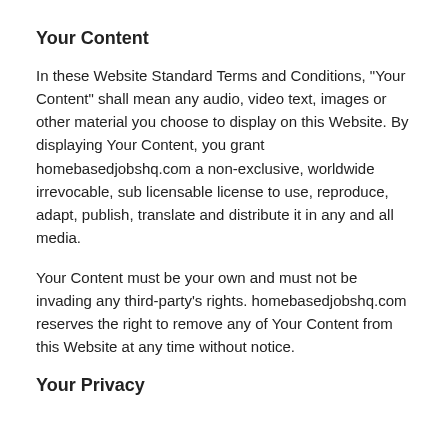Your Content
In these Website Standard Terms and Conditions, “Your Content” shall mean any audio, video text, images or other material you choose to display on this Website. By displaying Your Content, you grant homebasedjobshq.com a non-exclusive, worldwide irrevocable, sub licensable license to use, reproduce, adapt, publish, translate and distribute it in any and all media.
Your Content must be your own and must not be invading any third-party’s rights. homebasedjobshq.com reserves the right to remove any of Your Content from this Website at any time without notice.
Your Privacy